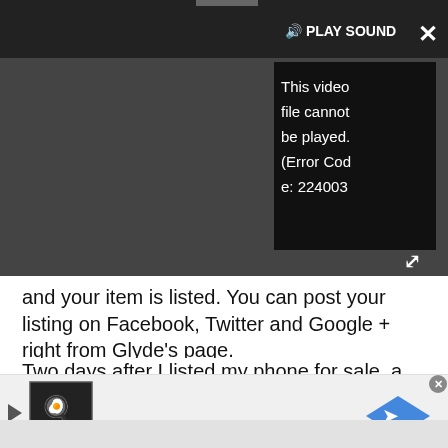[Figure (screenshot): Video player overlay showing dark background with 'PLAY SOUND' label and speaker icon, with an error message box reading 'This video file cannot be played. (Error Code: 224003)', a close X button top right, and expand arrows bottom right.]
and your item is listed. You can post your listing on Facebook, Twitter and Google + right from Glyde's page.
Two days after I listed my phone for sale, a buyer bit and then reneged within an hour; Glyde notified me via email about both events. The next day, another person offered to buy, which I quickly confirmed. A packing box arrived in the mail, with a prepaid label;
[Figure (screenshot): Advertisement banner at bottom: small chef/cook logo icon on dark background square on left, blue diamond-shaped navigation arrow on right, with play and close controls.]